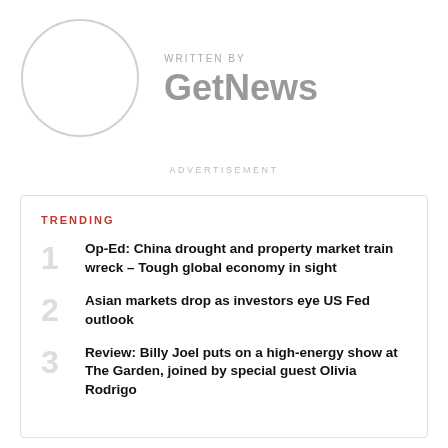[Figure (illustration): Circular avatar placeholder with light gray border]
WRITTEN BY
GetNews
ADVERTISEMENT
TRENDING
Op-Ed: China drought and property market train wreck – Tough global economy in sight
Asian markets drop as investors eye US Fed outlook
Review: Billy Joel puts on a high-energy show at The Garden, joined by special guest Olivia Rodrigo